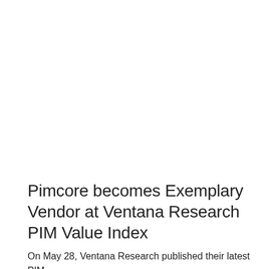Pimcore becomes Exemplary Vendor at Ventana Research PIM Value Index
On May 28, Ventana Research published their latest PIM